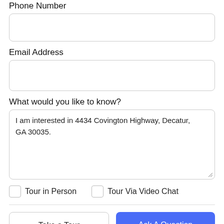Phone Number
Email Address
What would you like to know?
I am interested in 4434 Covington Highway, Decatur, GA 30035.
Tour in Person
Tour Via Video Chat
Take a Tour
Ask A Question